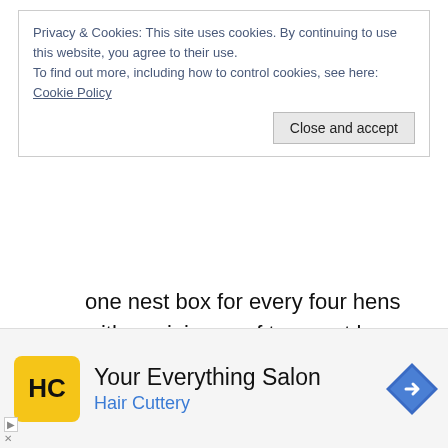Privacy & Cookies: This site uses cookies. By continuing to use this website, you agree to their use. To find out more, including how to control cookies, see here: Cookie Policy
Close and accept
one nest box for every four hens with a minimum of two nest boxes.
See further down the page for more information on perches and nest boxes.
Quality
e quality of a chicken coop is important. Generally
[Figure (other): Advertisement banner for Hair Cuttery salon with logo, text 'Your Everything Salon', 'Hair Cuttery', and a navigation arrow icon]